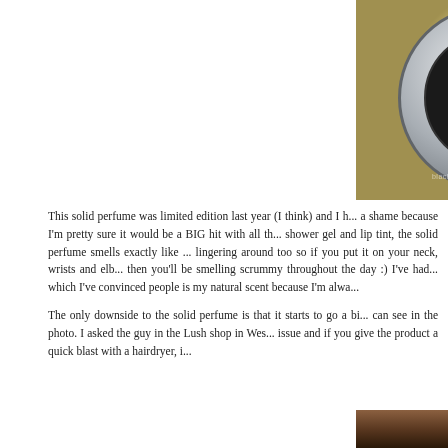[Figure (photo): Photo of a Lush Snow Fairy Solid Perfume tin with silver metallic lid and black label showing the Snow Fairy branding, sitting on a light blue/grey fabric background. Only the top portion of the tin is visible as the image is cropped.]
This solid perfume was limited edition last year (I think) and I h... a shame because I'm pretty sure it would be a BIG hit with all th... shower gel and lip tint, the solid perfume smells exactly like ... lingering around too so if you put it on your neck, wrists and elb... then you'll be smelling scrummy throughout the day :) I've had... which I've convinced people is my natural scent because I'm alwa...
The only downside to the solid perfume is that it starts to go a bi... can see in the photo. I asked the guy in the Lush shop in Wes... issue and if you give the product a quick blast with a hairdryer, i...
[Figure (photo): Bottom partial photo showing a close-up of what appears to be a hand or fingers holding the Lush solid perfume tin, with dark warm brown tones visible at the bottom of the page.]